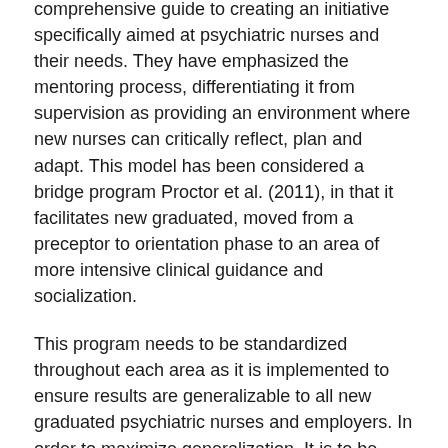comprehensive guide to creating an initiative specifically aimed at psychiatric nurses and their needs. They have emphasized the mentoring process, differentiating it from supervision as providing an environment where new nurses can critically reflect, plan and adapt. This model has been considered a bridge program Proctor et al. (2011), in that it facilitates new graduated, moved from a preceptor to orientation phase to an area of more intensive clinical guidance and socialization.
This program needs to be standardized throughout each area as it is implemented to ensure results are generalizable to all new graduated psychiatric nurses and employers. In order to maximize generalization. It is to be implemented not only in hospitals, but community mental health services and all establishments which employ psychiatric nurses. It also needs to be modified and agreed upon with input from the Registered Psychiatric Nurses of Canada, as well as members from the educational institutions and universities were undergraduate psychiatric nurses are obtaining their education.